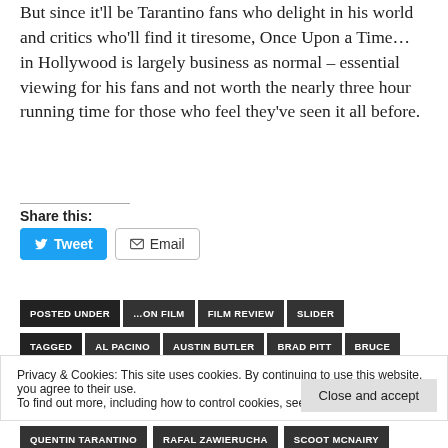But since it'll be Tarantino fans who delight in his world and critics who'll find it tiresome, Once Upon a Time… in Hollywood is largely business as normal – essential viewing for his fans and not worth the nearly three hour running time for those who feel they've seen it all before.
Share this:
Tweet  Email
POSTED UNDER
…ON FILM
FILM REVIEW
SLIDER
TAGGED
AL PACINO
AUSTIN BUTLER
BRAD PITT
BRUCE
DERN
CLIFTON COLLINS JR
DAKOTA FANNING
DAMIAN LEWIS
Privacy & Cookies: This site uses cookies. By continuing to use this website, you agree to their use. To find out more, including how to control cookies, see here: Cookie Policy
QUENTIN TARANTINO
RAFAL ZAWIERUCHA
SCOOT MCNAIRY